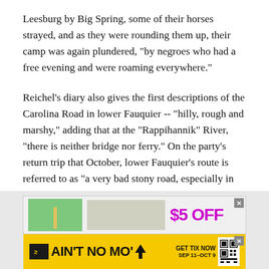Leesburg by Big Spring, some of their horses strayed, and as they were rounding them up, their camp was again plundered, "by negroes who had a free evening and were roaming everywhere."
Reichel's diary also gives the first descriptions of the Carolina Road in lower Fauquier -- "hilly, rough and marshy," adding that at the "Rappihannik" River, "there is neither bridge nor ferry." On the party's return trip that October, lower Fauquier's route is referred to as "a very bad stony road, especially in the place known as Devil's Race Ground, where we saw rock enough."
[Figure (other): Advertisement banner: top portion shows green background with pole and '$5 OFF' text in purple. Bottom yellow banner reads 'AIN'T NO MO'' with upward arrow, 'GET TIX NOW SEP 11–OCT 9' and a QR code.]